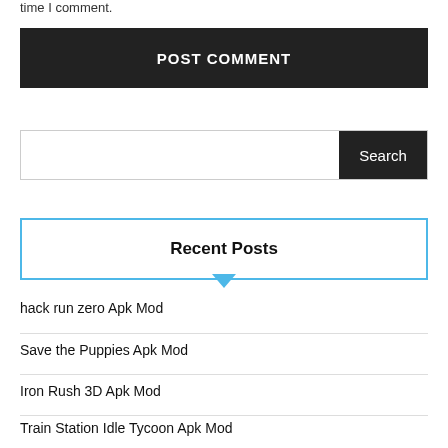time I comment.
POST COMMENT
Search
Recent Posts
hack run zero Apk Mod
Save the Puppies Apk Mod
Iron Rush 3D Apk Mod
Train Station Idle Tycoon Apk Mod